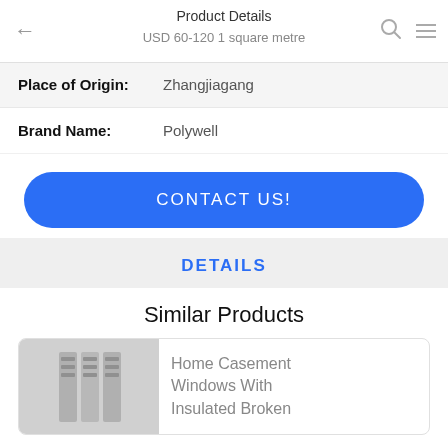Product Details | USD 60-120 1 square metre
Place of Origin: Zhangjiagang
Brand Name: Polywell
CONTACT US!
DETAILS
Similar Products
Home Casement Windows With Insulated Broken